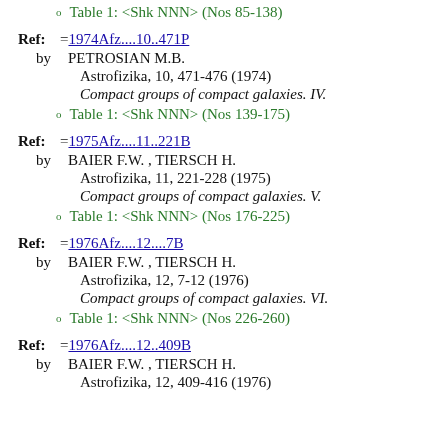Table 1: <Shk NNN> (Nos 85-138)
Ref: =1974Afz....10..471P
by PETROSIAN M.B.
Astrofizika, 10, 471-476 (1974)
Compact groups of compact galaxies. IV.
Table 1: <Shk NNN> (Nos 139-175)
Ref: =1975Afz....11..221B
by BAIER F.W. , TIERSCH H.
Astrofizika, 11, 221-228 (1975)
Compact groups of compact galaxies. V.
Table 1: <Shk NNN> (Nos 176-225)
Ref: =1976Afz....12....7B
by BAIER F.W. , TIERSCH H.
Astrofizika, 12, 7-12 (1976)
Compact groups of compact galaxies. VI.
Table 1: <Shk NNN> (Nos 226-260)
Ref: =1976Afz....12..409B
by BAIER F.W. , TIERSCH H.
Astrofizika, 12, 409-416 (1976)